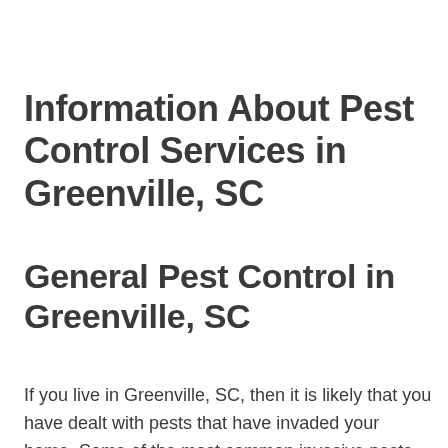Information About Pest Control Services in Greenville, SC
General Pest Control in Greenville, SC
If you live in Greenville, SC, then it is likely that you have dealt with pests that have invaded your home. Some of the most common invasive pests